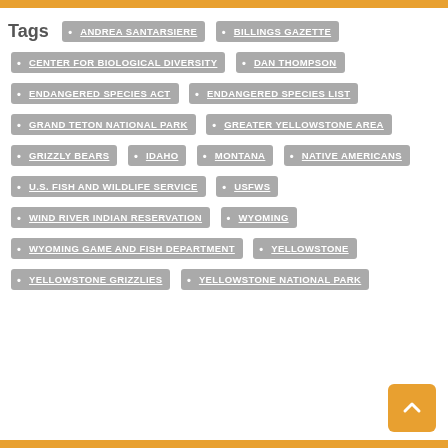Tags: ANDREA SANTARSIERE · BILLINGS GAZETTE · CENTER FOR BIOLOGICAL DIVERSITY · DAN THOMPSON · ENDANGERED SPECIES ACT · ENDANGERED SPECIES LIST · GRAND TETON NATIONAL PARK · GREATER YELLOWSTONE AREA · GRIZZLY BEARS · IDAHO · MONTANA · NATIVE AMERICANS · U.S. FISH AND WILDLIFE SERVICE · USFWS · WIND RIVER INDIAN RESERVATION · WYOMING · WYOMING GAME AND FISH DEPARTMENT · YELLOWSTONE · YELLOWSTONE GRIZZLIES · YELLOWSTONE NATIONAL PARK